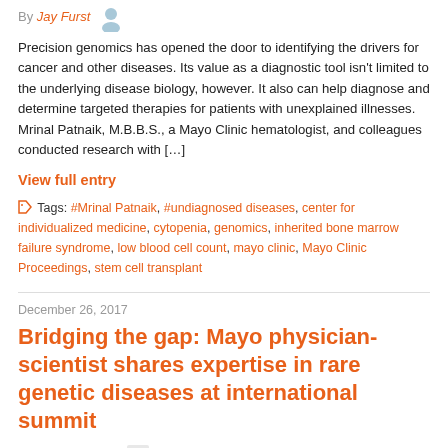By Jay Furst
Precision genomics has opened the door to identifying the drivers for cancer and other diseases. Its value as a diagnostic tool isn't limited to the underlying disease biology, however. It also can help diagnose and determine targeted therapies for patients with unexplained illnesses. Mrinal Patnaik, M.B.B.S., a Mayo Clinic hematologist, and colleagues conducted research with [...]
View full entry
Tags: #Mrinal Patnaik, #undiagnosed diseases, center for individualized medicine, cytopenia, genomics, inherited bone marrow failure syndrome, low blood cell count, mayo clinic, Mayo Clinic Proceedings, stem cell transplant
December 26, 2017
Bridging the gap: Mayo physician-scientist shares expertise in rare genetic diseases at international summit
By Sharon Rosen Sharon Rosen (@sharonhrosen)